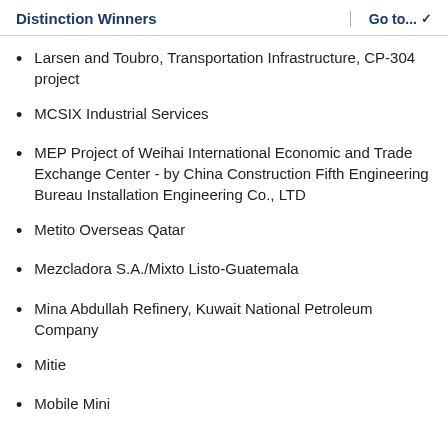Distinction Winners | Go to...
Larsen and Toubro, Transportation Infrastructure, CP-304 project
MCSIX Industrial Services
MEP Project of Weihai International Economic and Trade Exchange Center - by China Construction Fifth Engineering Bureau Installation Engineering Co., LTD
Metito Overseas Qatar
Mezcladora S.A./Mixto Listo-Guatemala
Mina Abdullah Refinery, Kuwait National Petroleum Company
Mitie
Mobile Mini